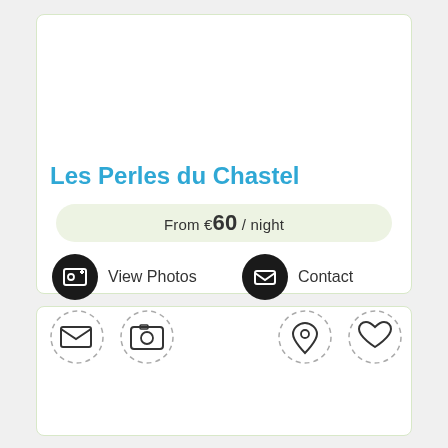Les Perles du Chastel
From €60 / night
View Photos
Contact
[Figure (screenshot): Bottom navigation bar with icons: envelope (mail), camera, location pin, and heart, each inside dashed circles]